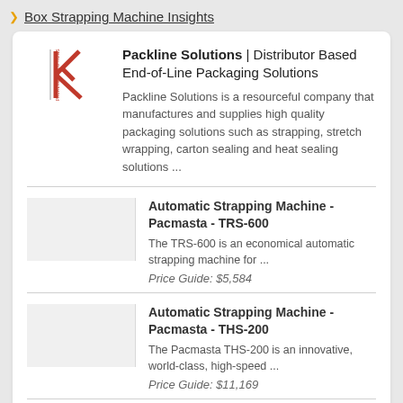Box Strapping Machine Insights
Packline Solutions | Distributor Based End-of-Line Packaging Solutions
Packline Solutions is a resourceful company that manufactures and supplies high quality packaging solutions such as strapping, stretch wrapping, carton sealing and heat sealing solutions ...
Automatic Strapping Machine - Pacmasta - TRS-600
The TRS-600 is an economical automatic strapping machine for ...
Price Guide: $5,584
Automatic Strapping Machine - Pacmasta - THS-200
The Pacmasta THS-200 is an innovative, world-class, high-speed ...
Price Guide: $11,169
Advanced Strapping Machine -